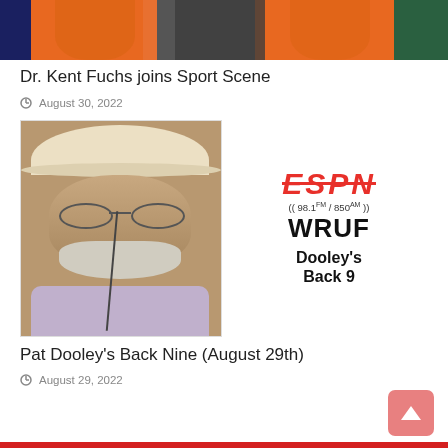[Figure (photo): Photo of people in University of Florida orange and blue mascot costumes at an event]
Dr. Kent Fuchs joins Sport Scene
August 30, 2022
[Figure (photo): Left: Photo of man with white cowboy hat, round glasses, and grey beard. Right: ESPN 98.1FM/850AM WRUF Dooley's Back 9 logo]
Pat Dooley's Back Nine (August 29th)
August 29, 2022